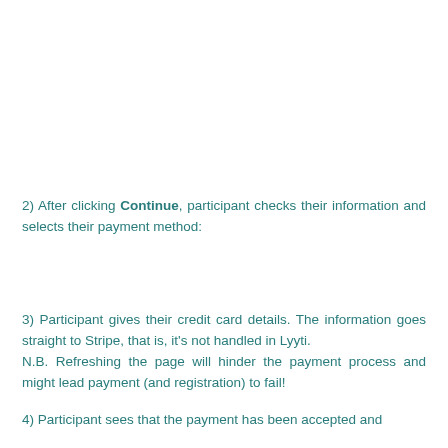2) After clicking Continue, participant checks their information and selects their payment method:
3) Participant gives their credit card details. The information goes straight to Stripe, that is, it's not handled in Lyyti.
N.B. Refreshing the page will hinder the payment process and might lead payment (and registration) to fail!
4) Participant sees that the payment has been accepted and